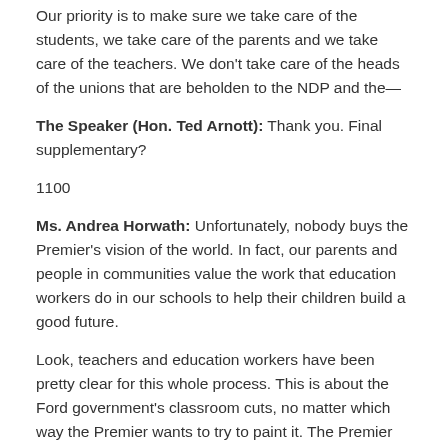Our priority is to make sure we take care of the students, we take care of the parents and we take care of the teachers. We don't take care of the heads of the unions that are beholden to the NDP and the—
The Speaker (Hon. Ted Arnott): Thank you. Final supplementary?
1100
Ms. Andrea Horwath: Unfortunately, nobody buys the Premier's vision of the world. In fact, our parents and people in communities value the work that education workers do in our schools to help their children build a good future.
Look, teachers and education workers have been pretty clear for this whole process. This is about the Ford government's classroom cuts, no matter which way the Premier wants to try to paint it. The Premier spent the spring, as we all know, picking a fight with the people who